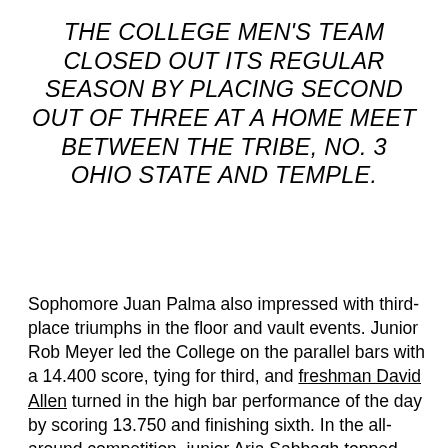THE COLLEGE MEN'S TEAM CLOSED OUT ITS REGULAR SEASON BY PLACING SECOND OUT OF THREE AT A HOME MEET BETWEEN THE TRIBE, NO. 3 OHIO STATE AND TEMPLE.
Sophomore Juan Palma also impressed with third-place triumphs in the floor and vault events. Junior Rob Meyer led the College on the parallel bars with a 14.400 score, tying for third, and freshman David Allen turned in the high bar performance of the day by scoring 13.750 and finishing sixth. In the all-around competition, junior Aria Sabbagh topped the leaderboard by scoring 79.500 across all events and trouncing the competition, scoring 18.550 higher than the next-highest finisher. Senior Keaton Ackerman